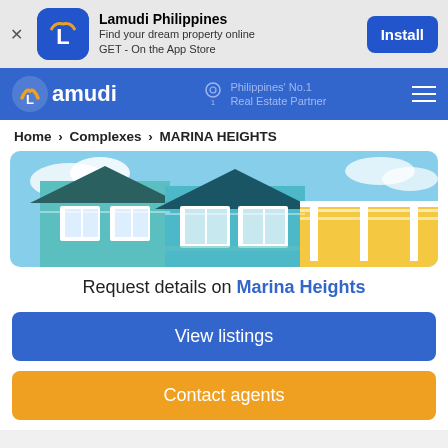[Figure (screenshot): App install banner for Lamudi Philippines with icon, app name, description and Install button]
[Figure (logo): Lamudi navigation bar with orange-white logo, Philippines No.1 Real Estate Partner text, and hamburger menu]
Home > Complexes > MARINA HEIGHTS
[Figure (photo): Photo of Marina Heights property showing blue/teal colored townhouses with white trim windows and balcony]
Request details on Marina Heights
View listings
Contact agents